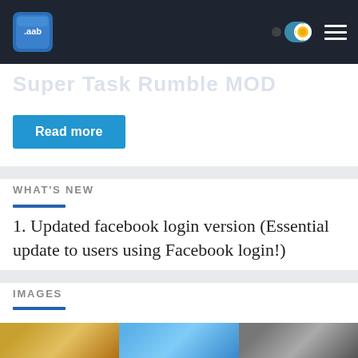App Bundle (.aab) site navigation bar with logo and toggle/menu icons
Super Task Rumble MOD
Read more
WHAT'S NEW
1. Updated facebook login version (Essential update to users using Facebook login!)
IMAGES
[Figure (screenshot): Partial screenshot strip showing game images preview at bottom of page]